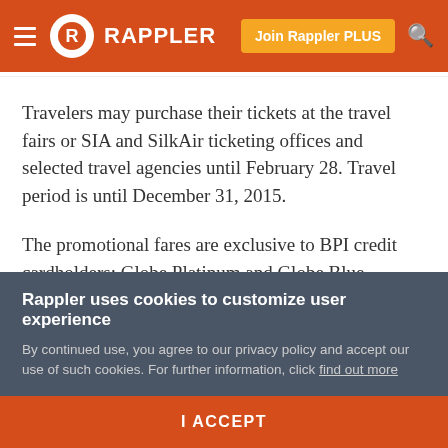Rappler
Travelers may purchase their tickets at the travel fairs or SIA and SilkAir ticketing offices and selected travel agencies until February 28. Travel period is until December 31, 2015.
The promotional fares are exclusive to BPI credit cardholders; Globe Platinum and Globe Blue customers; Glorietta, Ayala Center Cebu, and Abreeza Mall Davao shoppers; and KrisFlyer members.
Rappler uses cookies to customize user experience
By continued use, you agree to our privacy policy and accept our use of such cookies. For further information, click find out more
I ACCEPT